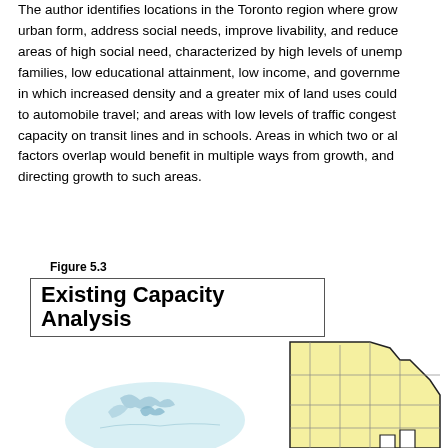The author identifies locations in the Toronto region where grow urban form, address social needs, improve livability, and reduce areas of high social need, characterized by high levels of unemp families, low educational attainment, low income, and governme in which increased density and a greater mix of land uses could to automobile travel; and areas with low levels of traffic congest capacity on transit lines and in schools. Areas in which two or al factors overlap would benefit in multiple ways from growth, and directing growth to such areas.
Figure 5.3
[Figure (map): Figure 5.3 Existing Capacity Analysis — map of the Toronto region showing areas with a yellow polygon (municipality boundaries with internal divisions) on the right and a light blue water body area with blue detail on the lower left.]